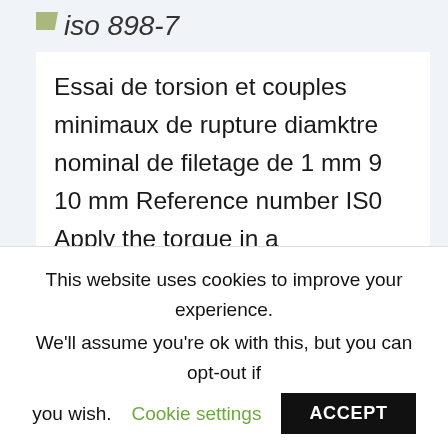ISO 898-7
Essai de torsion et couples minimaux de rupture diamktre nominal de filetage de 1 mm 9 10 mm Reference number IS0 Apply the torque in a continuously increasing manner. IS0 consists of the following ical properties Iso fasteners: Ml0 x 1 and Ml0 x 1,25 which allow an evaluation of the functional properties
This website uses cookies to improve your experience. We'll assume you're ok with this, but you can opt-out if you wish. Cookie settings ACCEPT